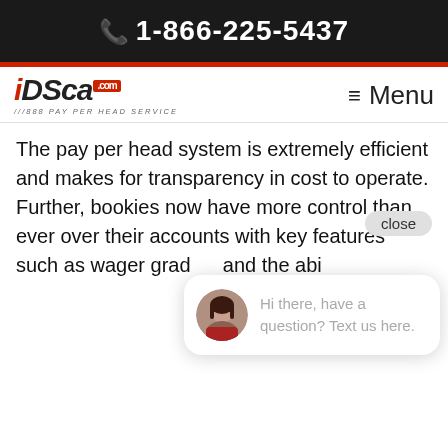📞 1-866-225-5437
[Figure (logo): iDSca.com #1888 PAY PER HEAD SERVICE logo with hamburger Menu button]
The pay per head system is extremely efficient and makes for transparency in cost to operate. Further, bookies now have more control than ever over their accounts with key features such as wager grad… and the abi
Another po… bookmakers is the ability to create a customized and white-label betting dashboard for their players. Bookies ca… present their IDSCA sportsbook as their